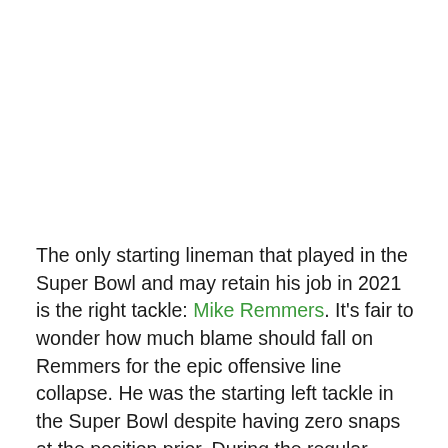The only starting lineman that played in the Super Bowl and may retain his job in 2021 is the right tackle: Mike Remmers. It's fair to wonder how much blame should fall on Remmers for the epic offensive line collapse. He was the starting left tackle in the Super Bowl despite having zero snaps at the position prior. During the regular season when he was the right tackle, he had a PFF grade of 71.3 which marked him at 38th at his position. Will a switch back to right tackle as well as a vastly upgraded line help